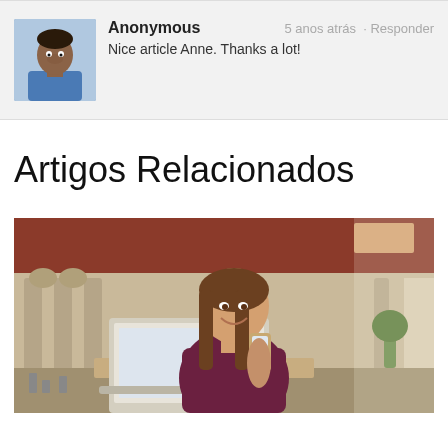Anonymous   5 anos atrás · Responder
Nice article Anne. Thanks a lot!
Artigos Relacionados
[Figure (photo): Young woman in a burgundy top sitting in a cafe, smiling at her smartphone with a laptop open in front of her. Warm interior background with arched architectural details.]